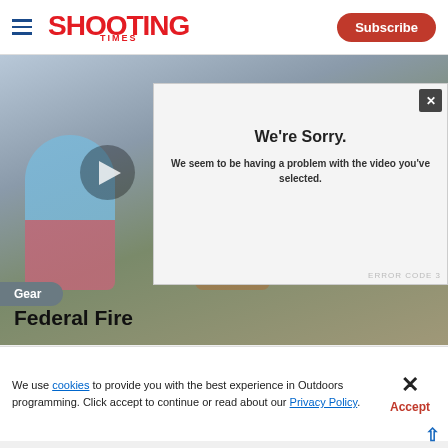SHOOTING TIMES | Subscribe
[Figure (photo): Video thumbnail showing two people at an outdoor shooting range, with a video error modal overlay reading 'We're Sorry. We seem to be having a problem with the video you've selected.']
Gear
Federal Fire
We use cookies to provide you with the best experience in Outdoors programming. Click accept to continue or read about our Privacy Policy.
[Figure (photo): Federal High Overall advertisement banner with dark background and fire imagery, showing 'NEW FEDERAL HIGH OVERALL BUY NOW']